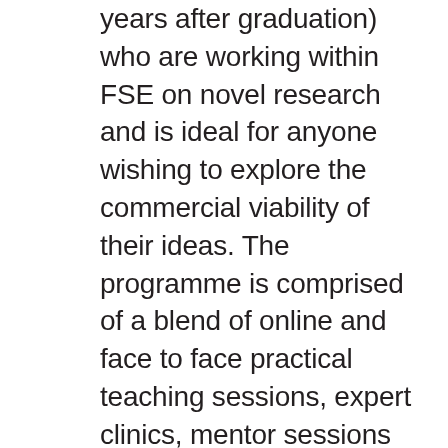years after graduation) who are working within FSE on novel research and is ideal for anyone wishing to explore the commercial viability of their ideas. The programme is comprised of a blend of online and face to face practical teaching sessions, expert clinics, mentor sessions and experienced advice and support from leading entrepreneurs and innovators, it will transfer the tools, contacts and confidence to transform your idea into a successful business project or venture and bolster internal commercial development